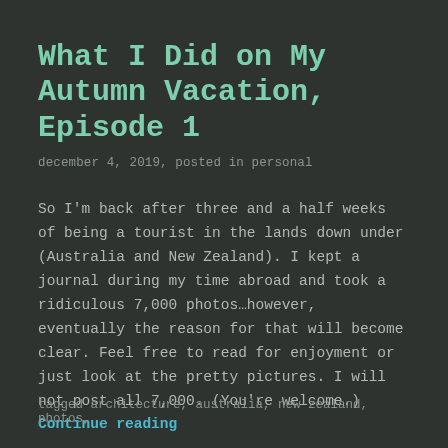What I Did on My Autumn Vacation, Episode 1
december 4, 2019, posted in personal
So I'm back after three and a half weeks of being a tourist in the lands down under (Australia and New Zealand). I kept a journal during my time abroad and took a ridiculous 7,000 photos…however, eventually the reason for that will become clear. Feel free to read for enjoyment or just look at the pretty pictures. I will not post all 7,000. (You're welcome.) Continue reading →
tagged architecture, australia, new zealand, photos,